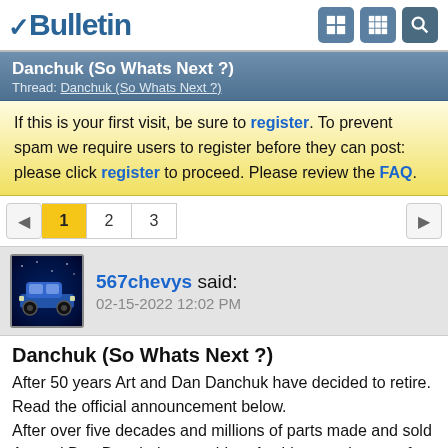vBulletin
Danchuk (So Whats Next ?)
Thread: Danchuk (So Whats Next ?)
If this is your first visit, be sure to register. To prevent spam we require users to register before they can post: please click register to proceed. Please review the FAQ.
1 2 3
567chevys said: 02-15-2022 12:02 PM
Danchuk (So Whats Next ?)
After 50 years Art and Dan Danchuk have decided to retire. Read the official announcement below.
After over five decades and millions of parts made and sold Art and Dan Danchuk are retiring. As this new chapter of Danchuk begins we will be returning to the roots of where